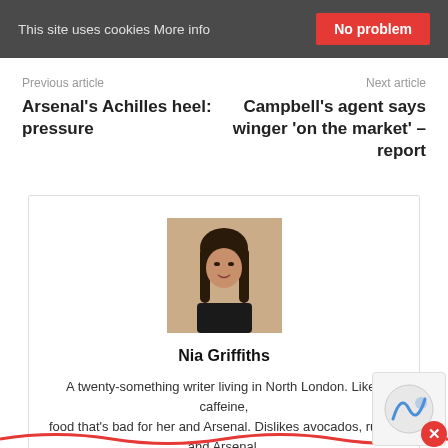This site uses cookies More info  No problem
Previous article
Next article
Arsenal's Achilles heel: pressure
Campbell's agent says winger 'on the market' – report
[Figure (photo): Profile photo of Nia Griffiths, a young woman with long dark hair]
Nia Griffiths
A twenty-something writer living in North London. Likes caffeine, food that's bad for her and Arsenal. Dislikes avocados, rudeness and Arsenal.